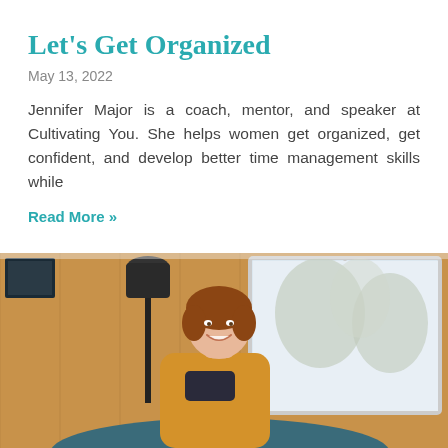Let's Get Organized
May 13, 2022
Jennifer Major is a coach, mentor, and speaker at Cultivating You. She helps women get organized, get confident, and develop better time management skills while
Read More »
[Figure (photo): A smiling woman with auburn hair wearing a mustard yellow top and dark scarf, sitting in a room with a wood-paneled wall, a black floor lamp, and a large window with a wintry outdoor scene visible.]